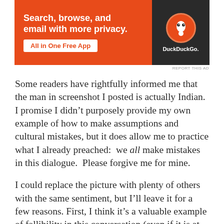[Figure (screenshot): DuckDuckGo advertisement banner with orange background. Text reads 'Search, browse, and email with more privacy. All in One Free App' with DuckDuckGo logo on dark right panel.]
REPORT THIS AD
Some readers have rightfully informed me that the man in screenshot I posted is actually Indian.  I promise I didn't purposely provide my own example of how to make assumptions and cultural mistakes, but it does allow me to practice what I already preached:  we all make mistakes in this dialogue.  Please forgive me for mine.
I could replace the picture with plenty of others with the same sentiment, but I'll leave it for a few reasons. First, I think it's a valuable example of fallibility in this conversation (even if it is at my own expense). In addition, I still maintain that the